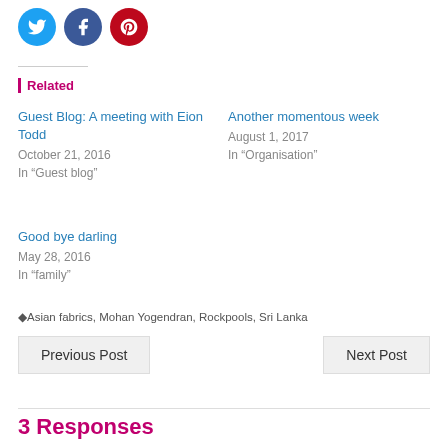[Figure (other): Three social media icon circles: Twitter (blue), Facebook (dark blue), Pinterest (red)]
Related
Guest Blog: A meeting with Eion Todd
October 21, 2016
In "Guest blog"
Another momentous week
August 1, 2017
In "Organisation"
Good bye darling
May 28, 2016
In "family"
Asian fabrics, Mohan Yogendran, Rockpools, Sri Lanka
Previous Post
Next Post
3 Responses